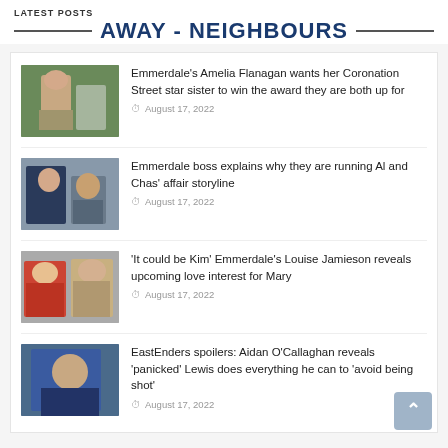LATEST POSTS
AWAY - NEIGHBOURS
Emmerdale's Amelia Flanagan wants her Coronation Street star sister to win the award they are both up for
August 17, 2022
Emmerdale boss explains why they are running Al and Chas' affair storyline
August 17, 2022
'It could be Kim' Emmerdale's Louise Jamieson reveals upcoming love interest for Mary
August 17, 2022
EastEnders spoilers: Aidan O'Callaghan reveals 'panicked' Lewis does everything he can to 'avoid being shot'
August 17, 2022